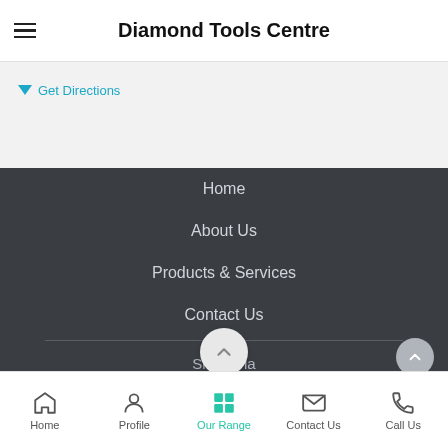Diamond Tools Centre
Get Directions
Home
About Us
Products & Services
Contact Us
Share via
© Diamond Tools Centre
Home  Profile  Our Range  Contact Us  Call Us